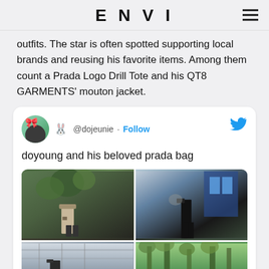ENVI
outfits. The star is often spotted supporting local brands and reusing his favorite items. Among them count a Prada Logo Drill Tote and his QT8 GARMENTS' mouton jacket.
[Figure (screenshot): Tweet from @dojeunie with the text 'doyoung and his beloved prada bag' accompanied by a 2x2 grid of photos showing a person carrying a bag in various outdoor and indoor settings.]